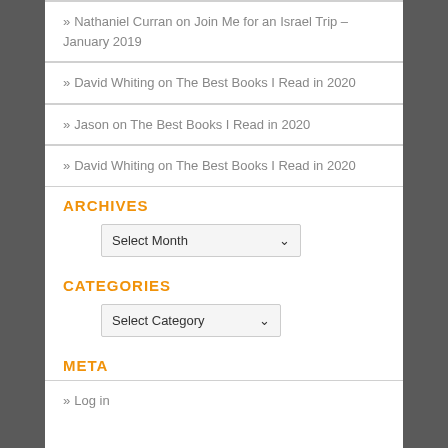» Nathaniel Curran on Join Me for an Israel Trip – January 2019
» David Whiting on The Best Books I Read in 2020
» Jason on The Best Books I Read in 2020
» David Whiting on The Best Books I Read in 2020
ARCHIVES
Select Month
CATEGORIES
Select Category
META
» Log in